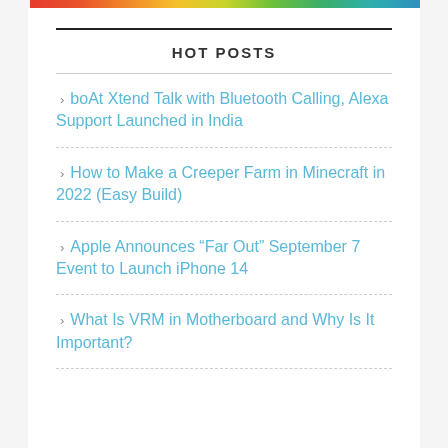HOT POSTS
boAt Xtend Talk with Bluetooth Calling, Alexa Support Launched in India
How to Make a Creeper Farm in Minecraft in 2022 (Easy Build)
Apple Announces “Far Out” September 7 Event to Launch iPhone 14
What Is VRM in Motherboard and Why Is It Important?